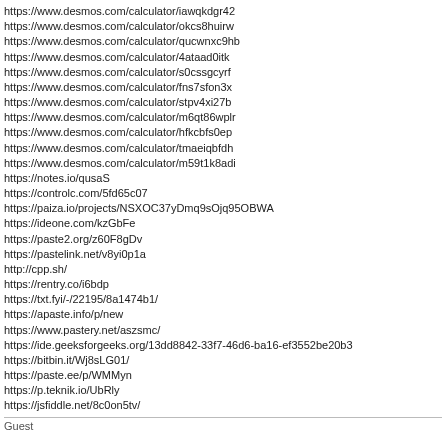https://www.desmos.com/calculator/iawqkdgr42
https://www.desmos.com/calculator/okcs8huirw
https://www.desmos.com/calculator/qucwnxc9hb
https://www.desmos.com/calculator/4ataad0itk
https://www.desmos.com/calculator/s0cssgcyrf
https://www.desmos.com/calculator/fns7sfon3x
https://www.desmos.com/calculator/stpv4xi27b
https://www.desmos.com/calculator/m6qt86wplr
https://www.desmos.com/calculator/hfkcbfs0ep
https://www.desmos.com/calculator/tmaeiqbfdh
https://www.desmos.com/calculator/m59t1k8adi
https://notes.io/qusaS
https://controlc.com/5fd65c07
https://paiza.io/projects/NSXOC37yDmq9sOjq95OBWA
https://ideone.com/kzGbFe
https://paste2.org/z60F8gDv
https://pastelink.net/v8yi0p1a
http://cpp.sh/
https://rentry.co/i6bdp
https://txt.fyi/-/22195/8a1474b1/
https://apaste.info/p/new
https://www.pastery.net/aszsmc/
https://ide.geeksforgeeks.org/13dd8842-33f7-46d6-ba16-ef3552be20b3
https://bitbin.it/Wj8sLG01/
https://paste.ee/p/WMMyn
https://p.teknik.io/UbRly
https://jsfiddle.net/8c0on5tv/
Guest